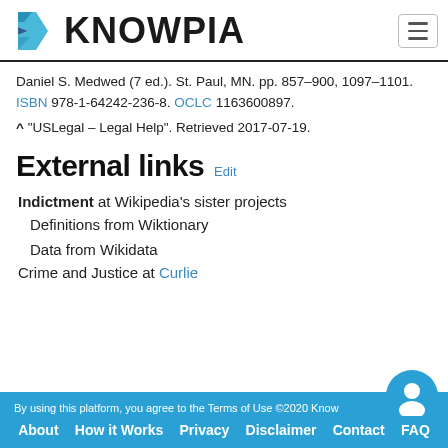KNOWPIA
Daniel S. Medwed (7 ed.). St. Paul, MN. pp. 857–900, 1097–1101. ISBN 978-1-64242-236-8. OCLC 1163600897.
^ "USLegal – Legal Help". Retrieved 2017-07-19.
External links Edit
Indictment at Wikipedia's sister projects
Definitions from Wiktionary
Data from Wikidata
Crime and Justice at Curlie
By using this platform, you agree to the Terms of Use ©2020 Knowpia  About  How it Works  Privacy  Disclaimer  Contact  FAQ